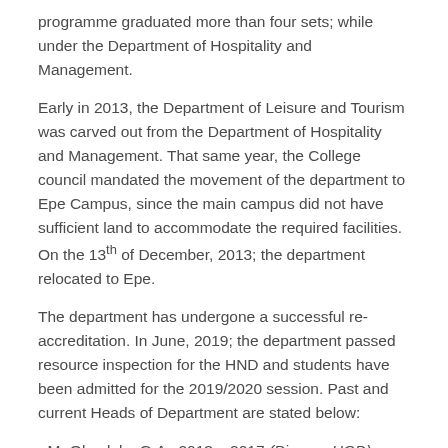programme graduated more than four sets; while under the Department of Hospitality and Management.
Early in 2013, the Department of Leisure and Tourism was carved out from the Department of Hospitality and Management. That same year, the College council mandated the movement of the department to Epe Campus, since the main campus did not have sufficient land to accommodate the required facilities. On the 13th of December, 2013; the department relocated to Epe.
The department has undergone a successful re-accreditation. In June, 2019; the department passed resource inspection for the HND and students have been admitted for the 2019/2020 session. Past and current Heads of Department are stated below:
- Mr Okunlola, G.A : 2013 – 2017 (Pioneer HOD)
- Miss Omotesho, B. : 2017 – 2019
- Mrs Koya, E. : 2019 till date,